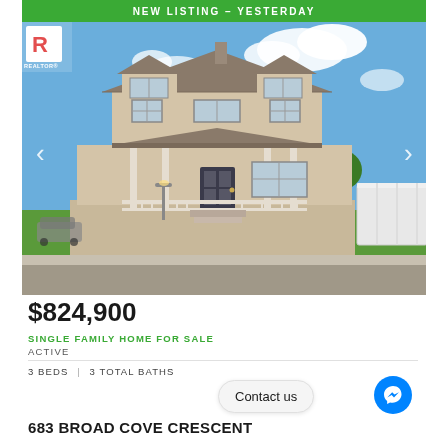[Figure (photo): Exterior photo of a two-story single family home with covered front porch, beige/tan siding, multiple windows, green lawn, and trees on a sunny day. Green banner at top reads NEW LISTING – YESTERDAY. REALTOR logo visible top left.]
$824,900
SINGLE FAMILY HOME FOR SALE
ACTIVE
3 BEDS  |  3 TOTAL BATHS
683 BROAD COVE CRESCENT